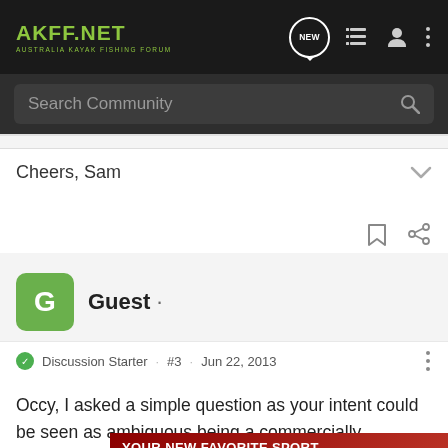AKFF.NET AUSTRALIA KAYAK FISHING FORUM
Search Community
Cheers, Sam
[Figure (screenshot): Post action icons: bookmark and share]
Guest ·
Discussion Starter · #3 · Jun 22, 2013
Occy, I asked a simple question as your intent could be seen as ambiguous being a commercially established member. A simple "Nah it's ... than a diatribe ... thread.